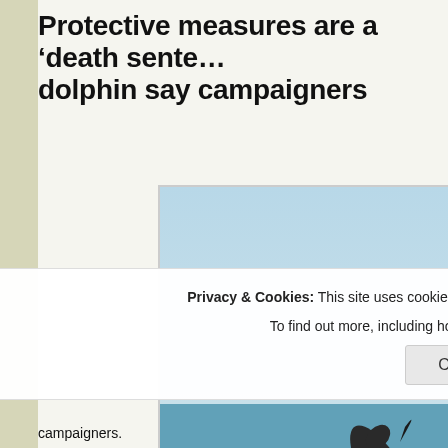Protective measures are a ‘death sentence’ for dolphin say campaigners
[Figure (photo): A dolphin leaping out of the ocean water against a light blue sky background. The dolphin is black and white, captured mid-jump above the ocean surface.]
Privacy & Cookies: This site uses cookies. By continuing to use this website, you agree to their use. To find out more, including how to control cookies, see here: Cookie Policy
campaigners.